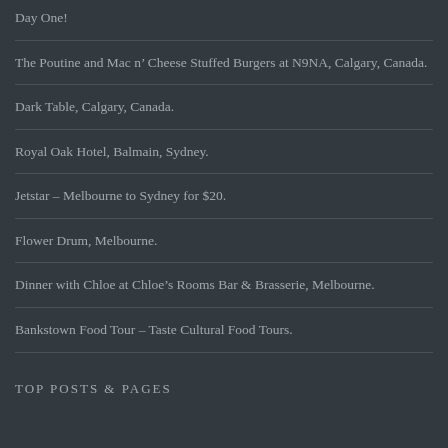Day One!
The Poutine and Mac n' Cheese Stuffed Burgers at N9NA, Calgary, Canada.
Dark Table, Calgary, Canada.
Royal Oak Hotel, Balmain, Sydney.
Jetstar – Melbourne to Sydney for $20.
Flower Drum, Melbourne.
Dinner with Chloe at Chloe's Rooms Bar & Brasserie, Melbourne.
Bankstown Food Tour – Taste Cultural Food Tours.
TOP POSTS & PAGES